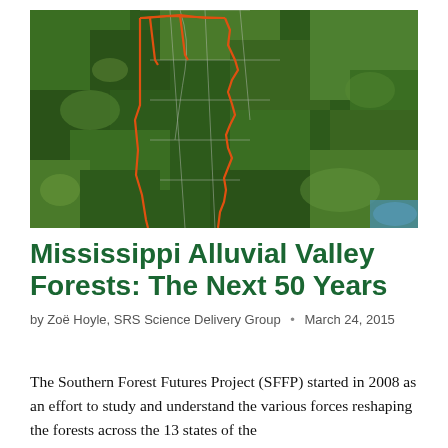[Figure (map): Satellite aerial map showing the Mississippi Alluvial Valley region outlined in orange/red, with green forested areas and white county boundary lines visible. A narrow corridor follows the Mississippi River southward.]
Mississippi Alluvial Valley Forests: The Next 50 Years
by Zoë Hoyle, SRS Science Delivery Group · March 24, 2015
The Southern Forest Futures Project (SFFP) started in 2008 as an effort to study and understand the various forces reshaping the forests across the 13 states of the